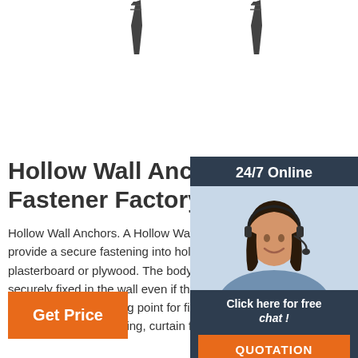[Figure (photo): Two screw/bolt fasteners shown at top of page]
[Figure (photo): Customer service representative woman with headset, chat widget with 24/7 Online label, Click here for free chat text, and QUOTATION button]
Hollow Wall Anchors - The Fastener Factory
Hollow Wall Anchors. A Hollow Wall Anchor is designed to provide a secure fastening into hollow cavity walls such as plasterboard or plywood. The body of the anchor remains securely fixed in the wall even if the screw is removed. This provides a secure fixing point for fixtures requiring periodic removal such as shelving, curtain fixtures and light fittings.
Get Price